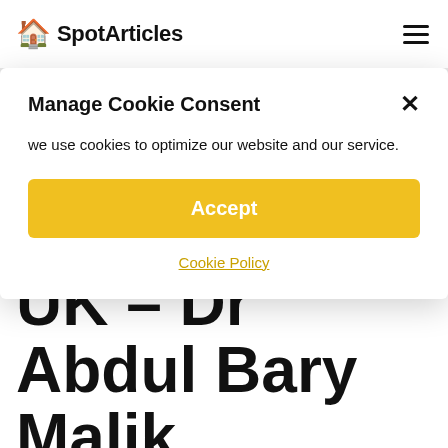SpotArticles
UK – Dr Abdul Bary Malik
by admin  /  HOME
Manage Cookie Consent
we use cookies to optimize our website and our service.
Accept
Cookie Policy